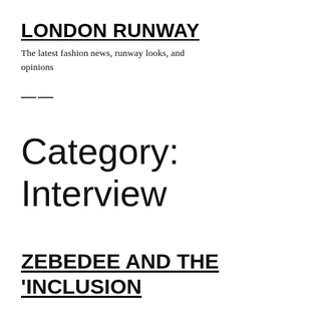LONDON RUNWAY
The latest fashion news, runway looks, and opinions
≡
Category: Interview
ZEBEDEE AND THE 'INCLUSION…